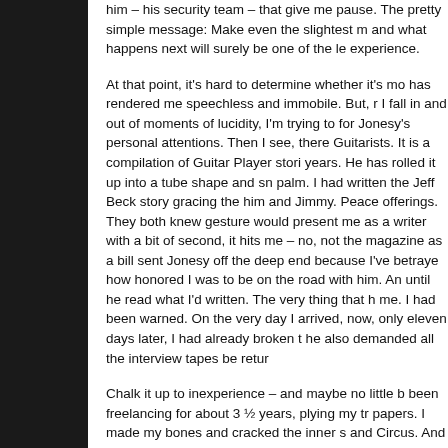him – his security team – that give me pause. The pretty simple message: Make even the slightest m and what happens next will surely be one of the le experience.
At that point, it's hard to determine whether it's mo has rendered me speechless and immobile. But, r I fall in and out of moments of lucidity, I'm trying to for Jonesy's personal attentions. Then I see, there Guitarists. It is a compilation of Guitar Player stori years. He has rolled it up into a tube shape and sn palm. I had written the Jeff Beck story gracing the him and Jimmy. Peace offerings. They both knew gesture would present me as a writer with a bit of second, it hits me – no, not the magazine as a bill sent Jonesy off the deep end because I've betraye how honored I was to be on the road with him. An until he read what I'd written. The very thing that h me. I had been warned. On the very day I arrived, now, only eleven days later, I had already broken t he also demanded all the interview tapes be retur
Chalk it up to inexperience – and maybe no little b been freelancing for about 3 ½ years, plying my tr papers. I made my bones and cracked the inner s and Circus. And then in December 1973, Guitar Pl submissions, accepted a Q&A on Jeff Beck and us